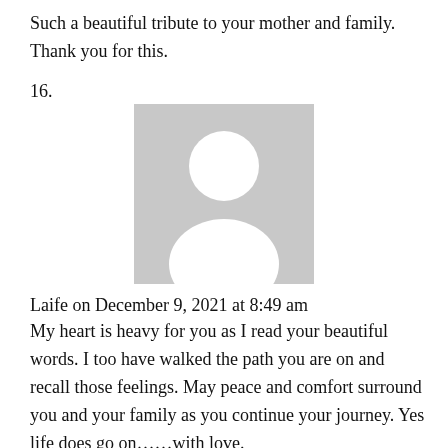Such a beautiful tribute to your mother and family. Thank you for this.
16.
[Figure (illustration): Generic user avatar placeholder image — grey square with white silhouette of a person (head and shoulders)]
Laife on December 9, 2021 at 8:49 am
My heart is heavy for you as I read your beautiful words. I too have walked the path you are on and recall those feelings. May peace and comfort surround you and your family as you continue your journey. Yes life does go on……with love.
17.
[Figure (illustration): Generic user avatar placeholder image — grey square with white silhouette of a person (head and shoulders)]